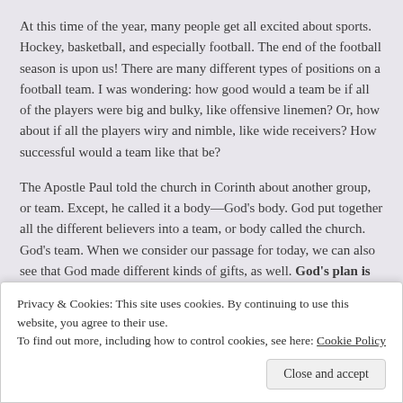At this time of the year, many people get all excited about sports. Hockey, basketball, and especially football. The end of the football season is upon us! There are many different types of positions on a football team. I was wondering: how good would a team be if all of the players were big and bulky, like offensive linemen? Or, how about if all the players wiry and nimble, like wide receivers? How successful would a team like that be?
The Apostle Paul told the church in Corinth about another group, or team. Except, he called it a body—God's body. God put together all the different believers into a team, or body called the church. God's team. When we consider our passage for today, we can also see that God made different kinds of gifts, as well. God's plan is for human beings to live together in one body. That is, with one another, in a great big community.
W
N
t
s
N
Privacy & Cookies: This site uses cookies. By continuing to use this website, you agree to their use.
To find out more, including how to control cookies, see here: Cookie Policy